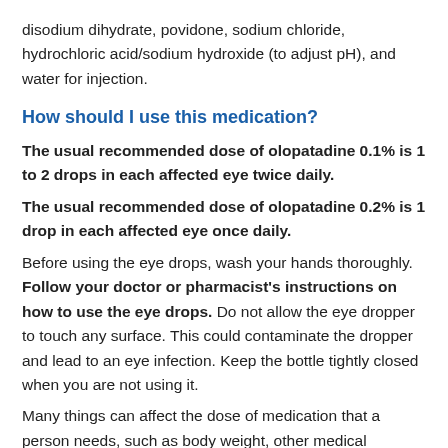disodium dihydrate, povidone, sodium chloride, hydrochloric acid/sodium hydroxide (to adjust pH), and water for injection.
How should I use this medication?
The usual recommended dose of olopatadine 0.1% is 1 to 2 drops in each affected eye twice daily.
The usual recommended dose of olopatadine 0.2% is 1 drop in each affected eye once daily.
Before using the eye drops, wash your hands thoroughly. Follow your doctor or pharmacist's instructions on how to use the eye drops. Do not allow the eye dropper to touch any surface. This could contaminate the dropper and lead to an eye infection. Keep the bottle tightly closed when you are not using it.
Many things can affect the dose of medication that a person needs, such as body weight, other medical conditions, and other medications. If your doctor has recommended a dose different from the ones listed here, do not change the way that you are